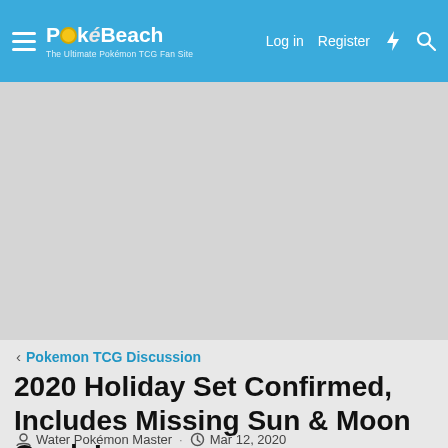PokéBeach — Log in  Register
[Figure (other): Advertisement / blank gray area]
< Pokemon TCG Discussion
2020 Holiday Set Confirmed, Includes Missing Sun & Moon Cards!
Water Pokémon Master · Mar 12, 2020